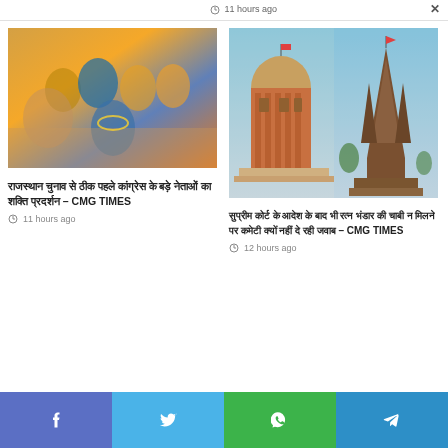11 hours ago
[Figure (photo): Group of politicians with one person receiving a garland, indoor setting]
राजस्थान चुनाव से ठीक पहले कांग्रेस के बड़े नेताओं का शक्ति प्रदर्शन – CMG TIMES
11 hours ago
[Figure (photo): Split image: Supreme Court of India building on left, Jagannath Temple on right]
सुप्रीम कोर्ट के आदेश के बाद भी रत्न भंडार की चाबी न मिलने पर कमेटी क्यों नहीं दे रही जवाब – CMG TIMES
12 hours ago